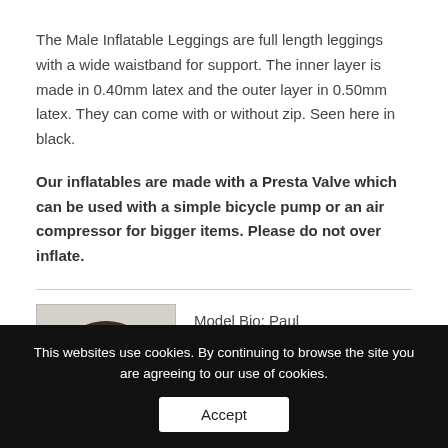The Male Inflatable Leggings are full length leggings with a wide waistband for support. The inner layer is made in 0.40mm latex and the outer layer in 0.50mm latex. They can come with or without zip. Seen here in black.
Our inflatables are made with a Presta Valve which can be used with a simple bicycle pump or an air compressor for bigger items. Please do not over inflate.
[Figure (photo): Headshot photo of male model Paul]
Model Bio: Paul
Height: 180
Chest: 98
This websites use cookies. By continuing to browse the site you are agreeing to our use of cookies.